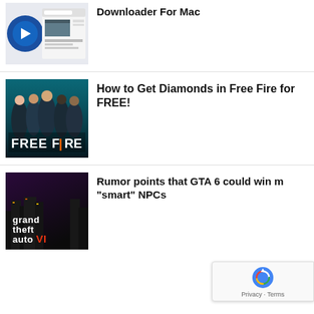[Figure (screenshot): Thumbnail of a YouTube downloader for Mac application screenshot]
Downloader For Mac
[Figure (photo): Free Fire game promotional image with multiple armed characters]
How to Get Diamonds in Free Fire for FREE!
[Figure (photo): Grand Theft Auto VI logo/title card]
Rumor points that GTA 6 could win more "smart" NPCs